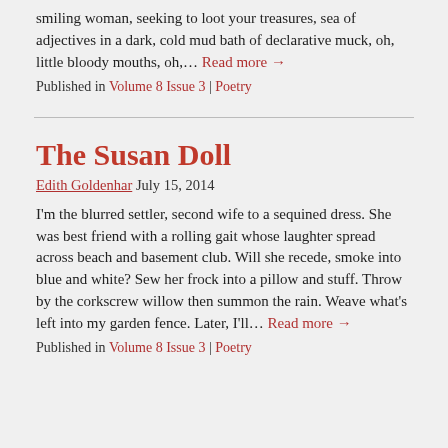smiling woman, seeking to loot your treasures, sea of adjectives in a dark, cold mud bath of declarative muck, oh, little bloody mouths, oh,… Read more →
Published in Volume 8 Issue 3 | Poetry
The Susan Doll
Edith Goldenhar July 15, 2014
I'm the blurred settler, second wife to a sequined dress. She was best friend with a rolling gait whose laughter spread across beach and basement club. Will she recede, smoke into blue and white? Sew her frock into a pillow and stuff. Throw by the corkscrew willow then summon the rain. Weave what's left into my garden fence. Later, I'll… Read more →
Published in Volume 8 Issue 3 | Poetry